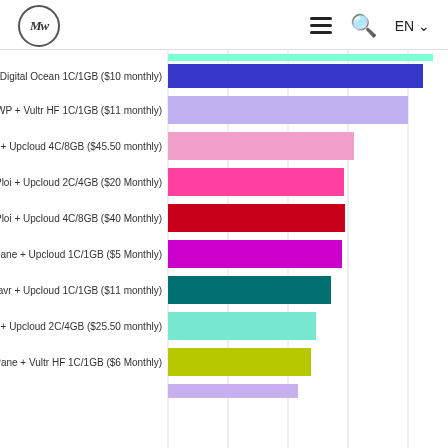MW logo, hamburger menu, search, EN language selector
[Figure (bar-chart): Hosting performance comparison]